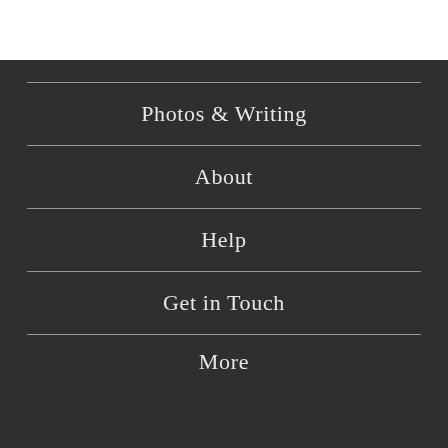Photos & Writing
About
Help
Get in Touch
More